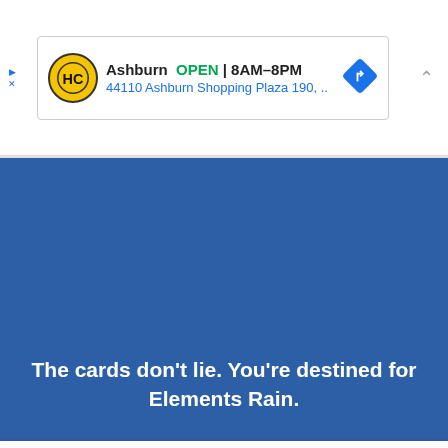[Figure (screenshot): Ad banner: HC logo with yellow background, Ashburn OPEN 8AM-8PM, address 44110 Ashburn Shopping Plaza 190, with blue navigation diamond icon and a chevron up arrow on the right]
[Figure (screenshot): Blue background section with white bold text saying: The cards don't lie. You're destined for Elements Rain.]
Find more in the app! ✕